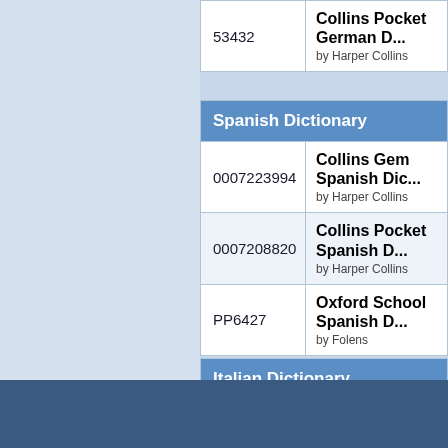| ID | Title/Author |
| --- | --- |
| 53432 | Collins Pocket German D...
by Harper Collins |
|  | Spanish Dictionary |
| --- | --- |
| 0007223994 | Collins Gem Spanish Dic...
by Harper Collins |
| 0007208820 | Collins Pocket Spanish D...
by Harper Collins |
| PP6427 | Oxford School Spanish D...
by Folens |
|  | Italian Dictionary |
| --- | --- |
| 0007224001 | Collins Gem Italian Dictio...
by Harper Collins |
English Dictionary | English Thesau... | French Dictionary | German Dictio...